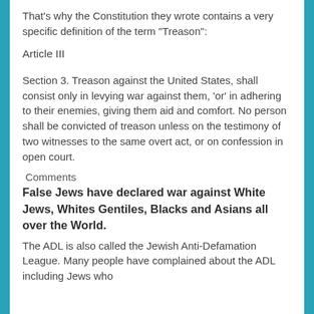That's why the Constitution they wrote contains a very specific definition of the term "Treason":
Article III
Section 3. Treason against the United States, shall consist only in levying war against them, 'or' in adhering to their enemies, giving them aid and comfort. No person shall be convicted of treason unless on the testimony of two witnesses to the same overt act, or on confession in open court.
Comments
False Jews have declared war against White Jews, Whites Gentiles, Blacks and Asians all over the World.
The ADL is also called the Jewish Anti-Defamation League. Many people have complained about the ADL including Jews who